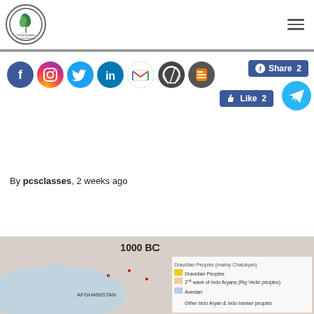[Figure (logo): PCS Studies circular logo with leaf/plant icon]
[Figure (infographic): Social media icons row: Facebook, Instagram, Twitter, LinkedIn, Gmail, WordPress, Blogger; with Facebook Share 2, Like 2 buttons and Telegram icon]
By pcsclasses, 2 weeks ago
[Figure (map): Partial map showing 1000 BC migration map of Indo-Aryan and Iranian peoples with legend showing Dravidian Peoples (yellow), 2nd wave of Indo Aryans Rig Vedic peoples (orange), Avestan (blue), Other Indo Aryan and Indo Iranian peoples]